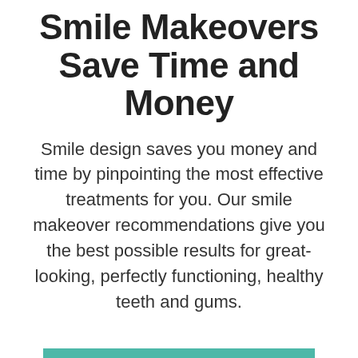Smile Makeovers Save Time and Money
Smile design saves you money and time by pinpointing the most effective treatments for you. Our smile makeover recommendations give you the best possible results for great-looking, perfectly functioning, healthy teeth and gums.
BOOK A VIRTUAL CONSULT